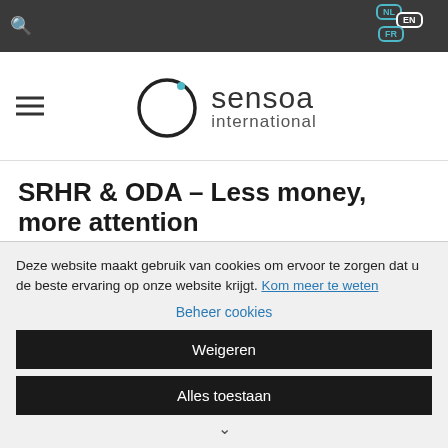Sensoa International website header with navigation bar, language selector (NL, EN, FR), hamburger menu, and Sensoa International logo
SRHR & ODA – Less money, more attention
6/10/2016
Deze website maakt gebruik van cookies om ervoor te zorgen dat u de beste ervaring op onze website krijgt. Kom meer te weten
Beheer cookies
Weigeren
Alles toestaan